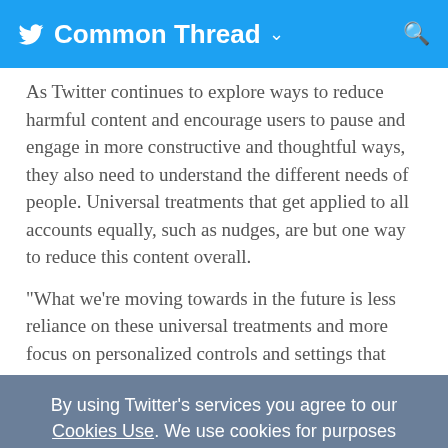Common Thread
As Twitter continues to explore ways to reduce harmful content and encourage users to pause and engage in more constructive and thoughtful ways, they also need to understand the different needs of people. Universal treatments that get applied to all accounts equally, such as nudges, are but one way to reduce this content overall.
“What we’re moving towards in the future is less reliance on these universal treatments and more focus on personalized controls and settings that
By using Twitter’s services you agree to our Cookies Use. We use cookies for purposes including analytics, personalisation, and ads.
OK